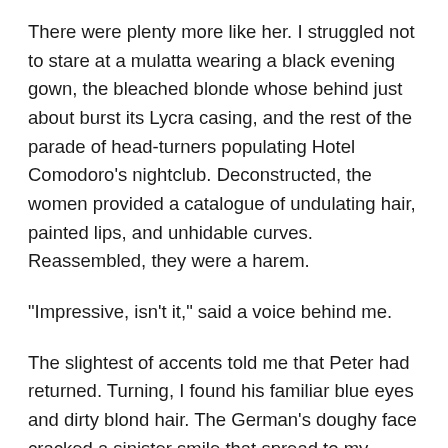There were plenty more like her. I struggled not to stare at a mulatta wearing a black evening gown, the bleached blonde whose behind just about burst its Lycra casing, and the rest of the parade of head-turners populating Hotel Comodoro's nightclub. Deconstructed, the women provided a catalogue of undulating hair, painted lips, and unhidable curves. Reassembled, they were a harem.
"Impressive, isn't it," said a voice behind me.
The slightest of accents told me that Peter had returned. Turning, I found his familiar blue eyes and dirty blond hair. The German's doughy face cracked a sinister smile that spread to my mouth.